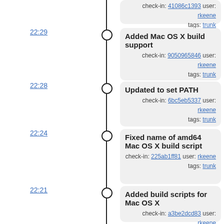check-in: 41086c1393 user: rkeene tags: trunk
22:29 — Added Mac OS X build support — check-in: 9050965846 user: rkeene tags: trunk
22:28 — Updated to set PATH — check-in: 6bc5eb5337 user: rkeene tags: trunk
22:24 — Fixed name of amd64 Mac OS X build script — check-in: 225ab1ff81 user: rkeene tags: trunk
22:21 — Added build scripts for Mac OS X — check-in: a3be2dcd83 user: rkeene tags: trunk
03:33 — Updated to work with compilers that add ".exe" to output files — check-in: 7ca49930e2 user: rkeene tags: trunk
03:32